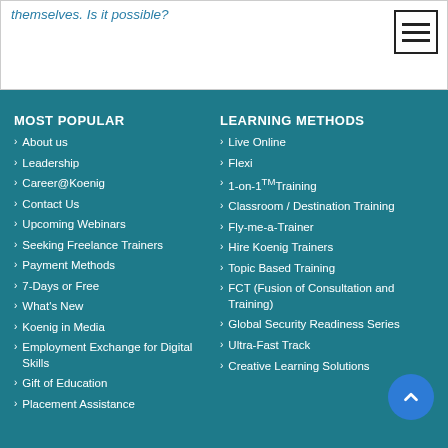themselves. Is it possible?
MOST POPULAR
About us
Leadership
Career@Koenig
Contact Us
Upcoming Webinars
Seeking Freelance Trainers
Payment Methods
7-Days or Free
What's New
Koenig in Media
Employment Exchange for Digital Skills
Gift of Education
Placement Assistance
LEARNING METHODS
Live Online
Flexi
1-on-1™Training
Classroom / Destination Training
Fly-me-a-Trainer
Hire Koenig Trainers
Topic Based Training
FCT (Fusion of Consultation and Training)
Global Security Readiness Series
Ultra-Fast Track
Creative Learning Solutions